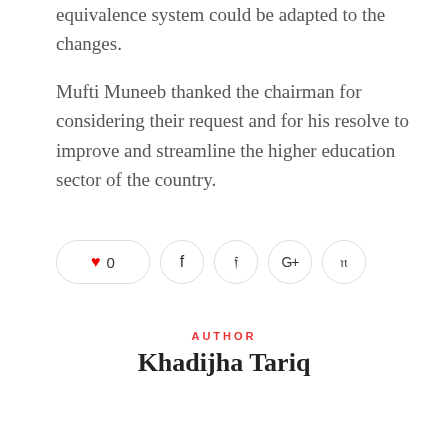equivalence system could be adapted to the changes.

Mufti Muneeb thanked the chairman for considering their request and for his resolve to improve and streamline the higher education sector of the country.
[Figure (infographic): Social sharing buttons: heart/like button showing 0 likes, followed by Facebook, Twitter, Google+, and Pinterest icon buttons in circles]
[Figure (logo): Circular blue power/blog platform logo icon]
AUTHOR
Khadijha Tariq